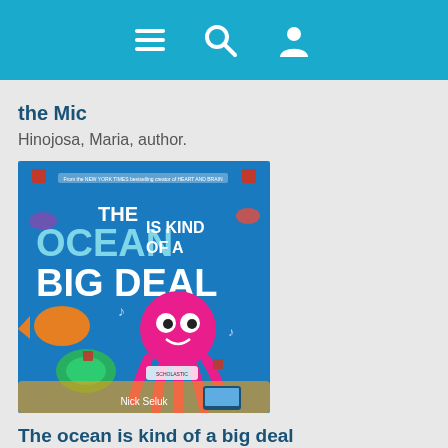[Figure (screenshot): App header bar with teal/cyan background containing hamburger menu icon, search icon, and user profile icon in white]
the Mic
Hinojosa, Maria, author.
[Figure (photo): Book cover of 'The Ocean is Kind of a Big Deal' by Nick Seluk. Blue underwater scene with a pink cartoon octopus with googly eyes, fish, and sea creatures. Title text in white and blue letters.]
The ocean is kind of a big deal
Seluk, Nick, author, illustrator.